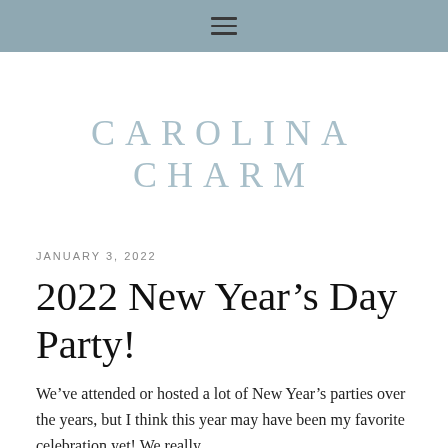≡
CAROLINA CHARM
JANUARY 3, 2022
2022 New Year's Day Party!
We've attended or hosted a lot of New Year's parties over the years, but I think this year may have been my favorite celebration yet! We really